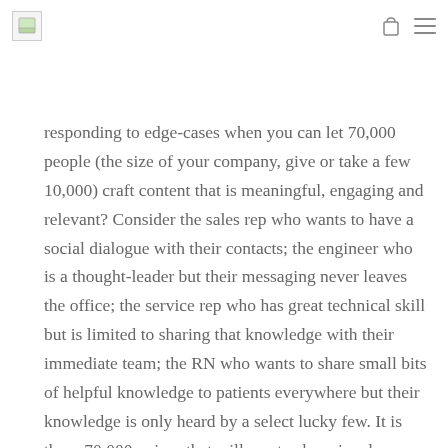[logo] [bag icon] [menu icon]
responding to edge-cases when you can let 70,000 people (the size of your company, give or take a few 10,000) craft content that is meaningful, engaging and relevant? Consider the sales rep who wants to have a social dialogue with their contacts; the engineer who is a thought-leader but their messaging never leaves the office; the service rep who has great technical skill but is limited to sharing that knowledge with their immediate team; the RN who wants to share small bits of helpful knowledge to patients everywhere but their knowledge is only heard by a select lucky few. It is these 70,000 voices that will create alumni and